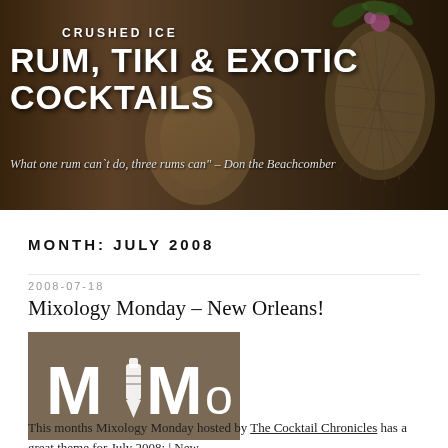[Figure (photo): Header image of a tiki bar scene with cocktails and pineapple decoration, dark warm-toned background]
CRUSHED ICE
RUM, TIKI & EXOTIC COCKTAILS
What one rum can't do, three rums can" – Don the Beachcomber
MONTH: JULY 2008
2008-07-18
Mixology Monday – New Orleans!
[Figure (logo): MiMo logo – white letters M, cocktail shaker icon, M, o on a taupe/brown background]
This months Mixology Monday hosted by The Cocktail Chronicles has a great theme for July 2008: | New